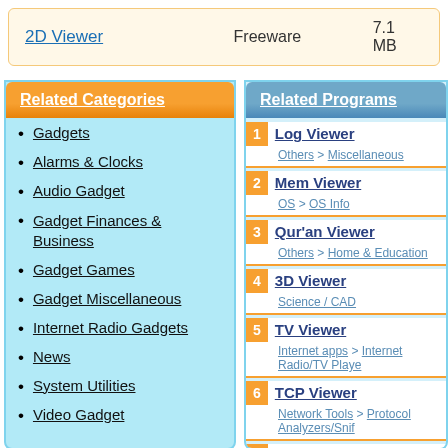2D Viewer   Freeware   7.1 MB
Related Categories
Gadgets
Alarms & Clocks
Audio Gadget
Gadget Finances & Business
Gadget Games
Gadget Miscellaneous
Internet Radio Gadgets
News
System Utilities
Video Gadget
Related Programs
1 Log Viewer — Others > Miscellaneous
2 Mem Viewer — OS > OS Info
3 Qur'an Viewer — Others > Home & Education
4 3D Viewer — Science / CAD
5 TV Viewer — Internet apps > Internet Radio/TV Player
6 TCP Viewer — Network Tools > Protocol Analyzers/Sniffers
7 My TCP Viewer — Network Tools > Network Information
8 Pic Viewer — Multimedia > ...